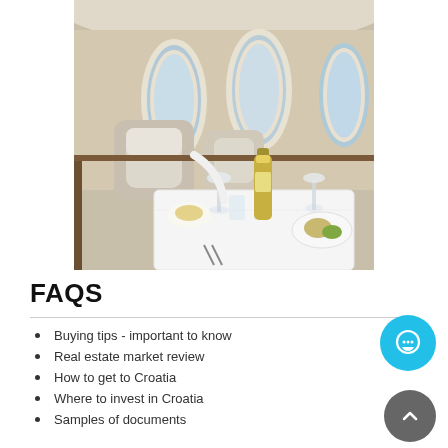[Figure (photo): Interior of a private jet with beige leather seats, oval windows, and a dining table set with white tablecloth, champagne bottle, wine glasses, and a plate of food.]
FAQS
Buying tips - important to know
Real estate market review
How to get to Croatia
Where to invest in Croatia
Samples of documents